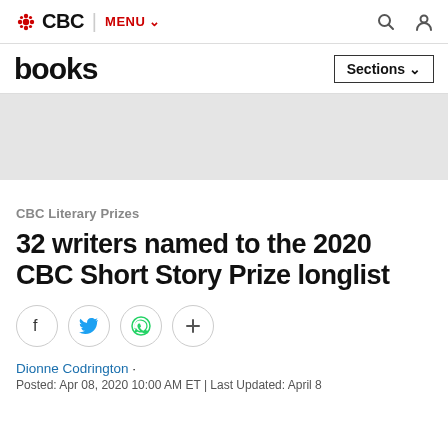CBC | MENU
books | Sections
[Figure (other): Grey advertisement placeholder banner]
CBC Literary Prizes
32 writers named to the 2020 CBC Short Story Prize longlist
[Figure (infographic): Social share icons: Facebook, Twitter, WhatsApp, and a plus/more button]
Dionne Codrington ·
Posted: Apr 08, 2020 10:00 AM ET | Last Updated: April 8